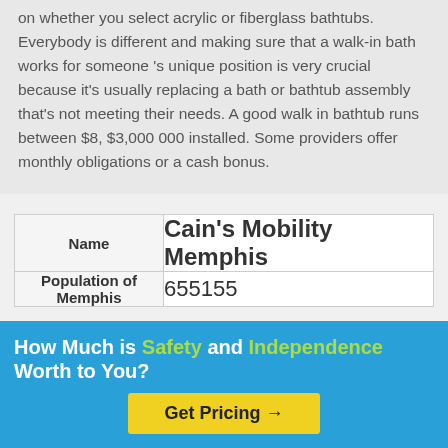on whether you select acrylic or fiberglass bathtubs. Everybody is different and making sure that a walk-in bath works for someone 's unique position is very crucial because it's usually replacing a bath or bathtub assembly that's not meeting their needs. A good walk in bathtub runs between $8, $3,000 000 installed. Some providers offer monthly obligations or a cash bonus.
| Name | Cain's Mobility Memphis |
| --- | --- |
| Population of Memphis | 655155 |
How Much is Safety and Independence Worth to You?
Get Pricing →